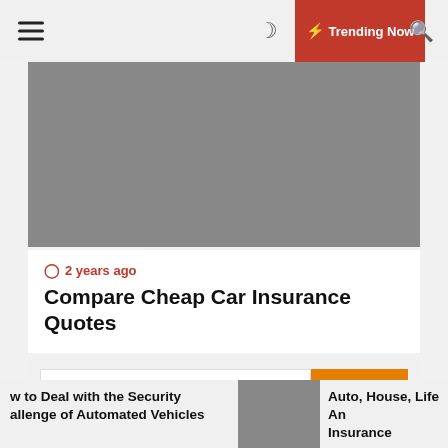☰  ☾  ⚡ Trending Now  🔍
[Figure (photo): Gray placeholder image for article hero]
🕐 2 years ago
Compare Cheap Car Insurance Quotes
Search ...
w to Deal with the Security allenge of Automated Vehicles
Auto, House, Life An Insurance